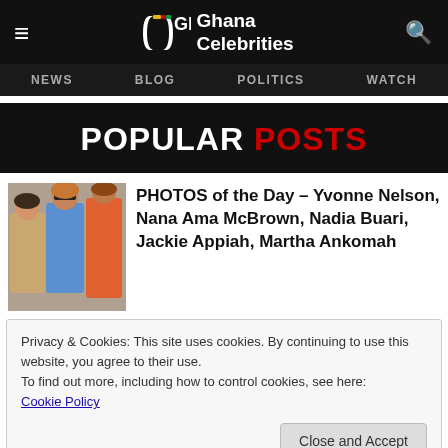Ghana Celebrities — NEWS  BLOG  POLITICS  WATCH
POPULAR POSTS
PHOTOS of the Day – Yvonne Nelson, Nana Ama McBrown, Nadia Buari, Jackie Appiah, Martha Ankomah
Privacy & Cookies: This site uses cookies. By continuing to use this website, you agree to their use.
To find out more, including how to control cookies, see here: Cookie Policy